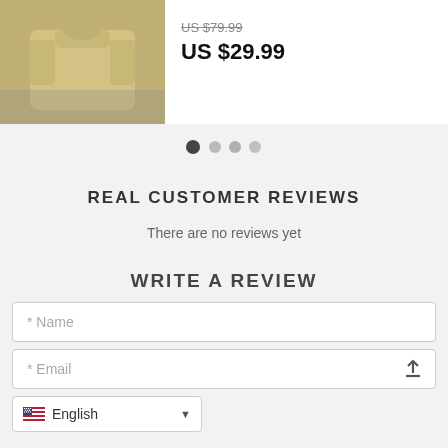[Figure (photo): Product photo of a beige/cream sweatshirt laid flat on a grey surface]
US $79.99
US $29.99
[Figure (other): Carousel navigation dots: one filled dark, three grey]
REAL CUSTOMER REVIEWS
There are no reviews yet
WRITE A REVIEW
* Name
* Email
[Figure (screenshot): Language selector dropdown showing US flag and 'English' with dropdown arrow]